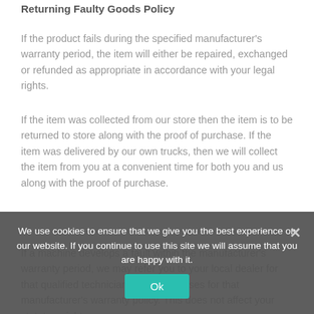Returning Faulty Goods Policy
If the product fails during the specified manufacturer's warranty period, the item will either be repaired, exchanged or refunded as appropriate in accordance with your legal rights.
If the item was collected from our store then the item is to be returned to store along with the proof of purchase. If the item was delivered by our own trucks, then we will collect the item from you at a convenient time for both you and us along with the proof of purchase.
If a machine develops a fault within the manufacturer's warranty period, we may refer you to your local dealer for that qualified technicians that specialises for that manufacturer's warranty policy. This does not affect your statutory rights as a consumer.
We use cookies to ensure that we give you the best experience on our website. If you continue to use this site we will assume that you are happy with it.